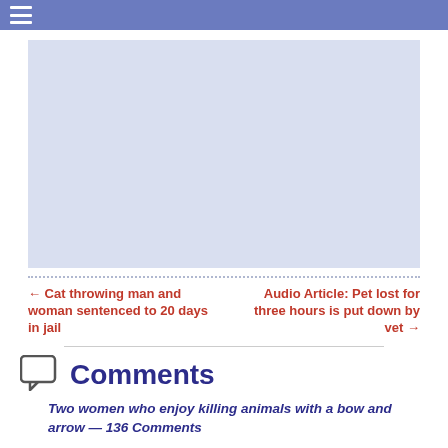≡ (navigation bar)
[Figure (other): Advertisement placeholder area, light blue-grey background]
← Cat throwing man and woman sentenced to 20 days in jail
Audio Article: Pet lost for three hours is put down by vet →
Comments
Two women who enjoy killing animals with a bow and arrow — 136 Comments
Deb on May 6, 2015 at 4:02 pm said:
As to Woody, aka a million stupid monikers, I have only one main thing to say: